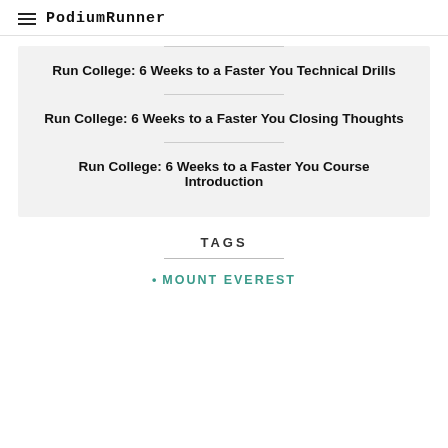PodiumRunner
Run College: 6 Weeks to a Faster You Technical Drills
Run College: 6 Weeks to a Faster You Closing Thoughts
Run College: 6 Weeks to a Faster You Course Introduction
TAGS
MOUNT EVEREST